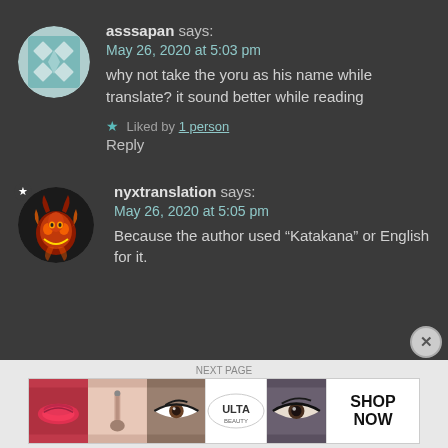asssapan says:
May 26, 2020 at 5:03 pm
why not take the yoru as his name while translate? it sound better while reading
★ Liked by 1 person
Reply
nyxtranslation says:
May 26, 2020 at 5:05 pm
Because the author used “Katakana” or English for it.
[Figure (photo): Advertisement banner for ULTA Beauty showing cosmetic product images (lips, makeup brush, eye with mascara) and ULTA logo with SHOP NOW button]